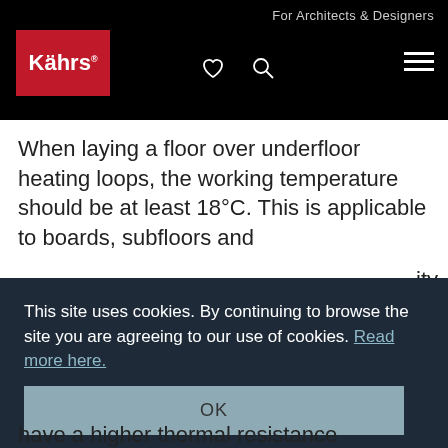For Architects & Designers
[Figure (logo): Kährs logo — white text on red background]
When laying a floor over underfloor heating loops, the working temperature should be at least 18°C. This is applicable to boards, subfloors and
This site uses cookies. By continuing to browse the site you are agreeing to our use of cookies. Read more here.
OK
have a higher thermal resistance